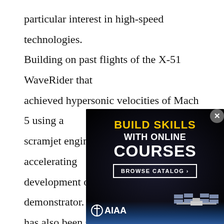particular interest in high-speed technologies. Building on past flights of the X-51 WaveRider that achieved hypersonic velocities of Mach 5 using a scramjet engine, the U.S. Air Force is accelerating development of a follow-on demonstrator. Interest has also been shown in deploying directed energy payloads... Countermeasures... Advanced... of computers... ate an improve... board Lockhe... ile. ★
[Figure (other): Advertisement overlay with dark space background showing 'BUILD SKILLS WITH ONLINE COURSES - BROWSE CATALOG >' with AIAA logo and ISS image. Includes a close (X) button in top-right corner of the ad.]